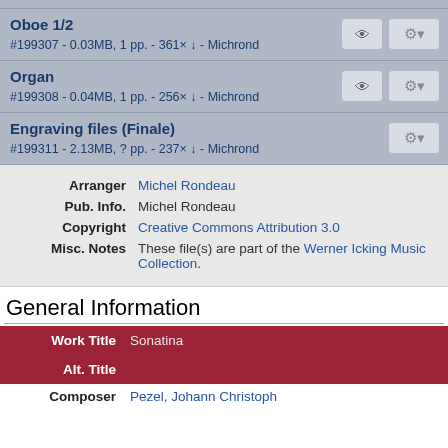Oboe 1/2 — #199307 - 0.03MB, 1 pp. - 361× - Michrond
Organ — #199308 - 0.04MB, 1 pp. - 256× - Michrond
Engraving files (Finale) — #199311 - 2.13MB, ? pp. - 237× - Michrond
| Label | Value |
| --- | --- |
| Arranger | Michel Rondeau |
| Pub. Info. | Michel Rondeau |
| Copyright | Creative Commons Attribution 3.0 |
| Misc. Notes | These file(s) are part of the Werner Icking Music Collection. |
General Information
| Label | Value |
| --- | --- |
| Work Title | Sonatina |
| Alt. Title |  |
| Composer | Pezel, Johann Christoph |